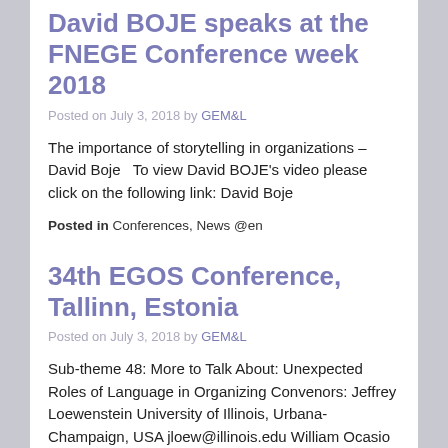David BOJE speaks at the FNEGE Conference week 2018
Posted on July 3, 2018 by GEM&L
The importance of storytelling in organizations – David Boje   To view David BOJE's video please click on the following link: David Boje
Posted in Conferences, News @en
34th EGOS Conference, Tallinn, Estonia
Posted on July 3, 2018 by GEM&L
Sub-theme 48: More to Talk About: Unexpected Roles of Language in Organizing Convenors: Jeffrey Loewenstein University of Illinois, Urbana-Champaign, USA jloew@illinois.edu William Ocasio Northwestern